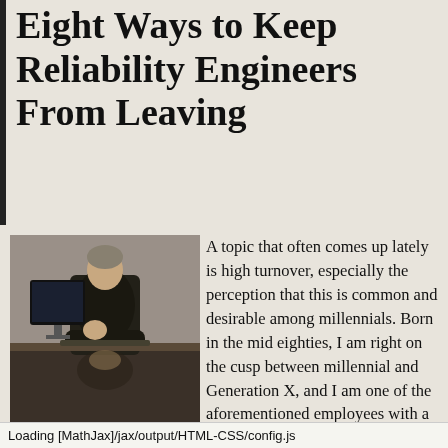Eight Ways to Keep Reliability Engineers From Leaving
[Figure (photo): A man in dark clothing sitting at a desk with a computer monitor, resting his chin on his hand in a thoughtful pose, reflected on the desk surface.]
A topic that often comes up lately is high turnover, especially the perception that this is common and desirable among millennials. Born in the mid eighties, I am right on the cusp between millennial and Generation X, and I am one of the aforementioned employees with a high turnover history. A specialized Reliability
Loading [MathJax]/jax/output/HTML-CSS/config.js